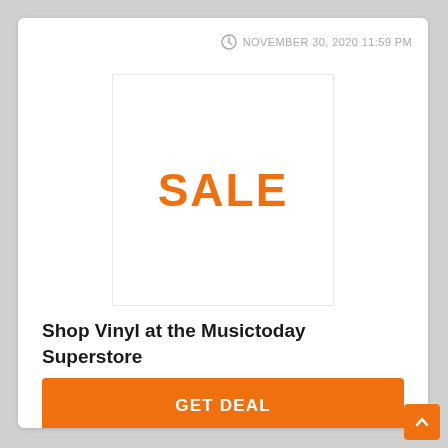NOVEMBER 30, 2020 11:59 PM
[Figure (other): White square image placeholder with bold orange text 'SALE' centered]
Shop Vinyl at the Musictoday Superstore
GET DEAL
Expired but feel free to try